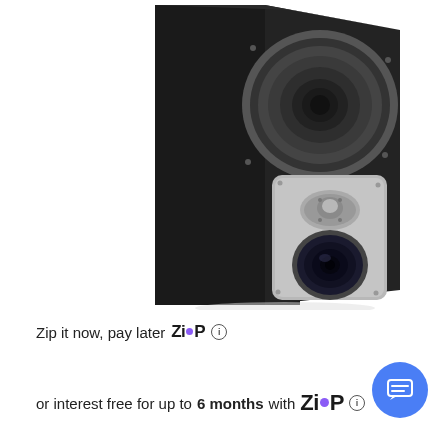[Figure (photo): Close-up photo of a black hi-fi loudspeaker cabinet showing a large woofer at the top, a silver/grey front baffle panel with a tweeter dome in the center and a midrange driver (port) at the bottom. The speaker is angled slightly to show the side and front.]
Zip it now, pay later  ZIP  ⓘ
or interest free for up to 6 months with  ZIP  ⓘ